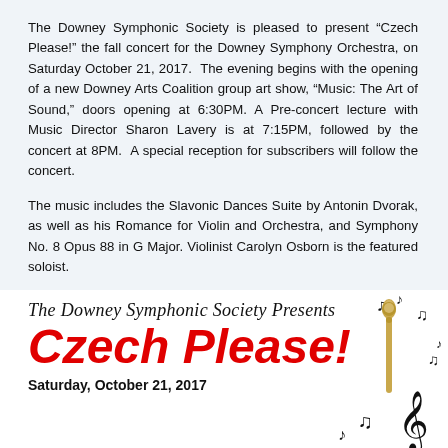The Downey Symphonic Society is pleased to present “Czech Please!” the fall concert for the Downey Symphony Orchestra, on Saturday October 21, 2017.  The evening begins with the opening of a new Downey Arts Coalition group art show, “Music: The Art of Sound,” doors opening at 6:30PM. A Pre-concert lecture with Music Director Sharon Lavery is at 7:15PM, followed by the concert at 8PM.  A special reception for subscribers will follow the concert.
The music includes the Slavonic Dances Suite by Antonin Dvorak, as well as his Romance for Violin and Orchestra, and Symphony No. 8 Opus 88 in G Major. Violinist Carolyn Osborn is the featured soloist.
Tickets are available now at the Downey Theatre box office, 8435 Firestone Blvd, Downey CA 90241, 562-861-8211.
[Figure (illustration): Promotional graphic for The Downey Symphonic Society Presents Czech Please! concert on Saturday, October 21, 2017. Features italic script for 'The Downey Symphonic Society Presents', large bold red italic text 'Czech Please!', bold text 'Saturday, October 21, 2017', and decorative music notes and a gold conductor's baton with treble clef on the right side.]